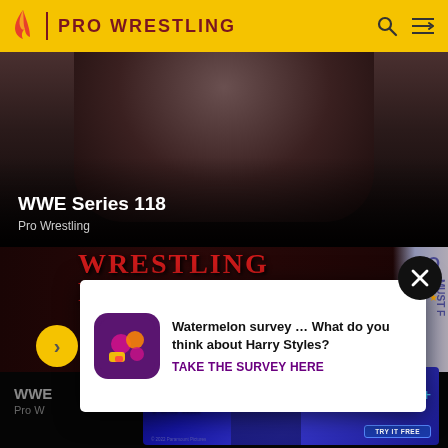PRO WRESTLING
[Figure (screenshot): Hero image showing a muscular torso (wrestler) with dark overlay. Text overlay reads WWE Series 118 / Pro Wrestling]
WWE Series 118
Pro Wrestling
[Figure (screenshot): Wrestling Figures banner image with red text WRESTLING FIGURES on dark background, with partial TO and MUST text visible on right side]
[Figure (infographic): Survey popup overlay with yellow arrow button on left, Watermelon survey app icon, text: Watermelon survey … What do you think about Harry Styles? TAKE THE SURVEY HERE]
Watermelon survey … What do you think about Harry Styles?
TAKE THE SURVEY HERE
[Figure (screenshot): Paramount+ advertisement for Orphan: First Kill movie. Shows girl's face, pink stylized Orphan First Kill title text, Streaming on Paramount+ branding, TRY IT FREE button]
WWE
Pro W